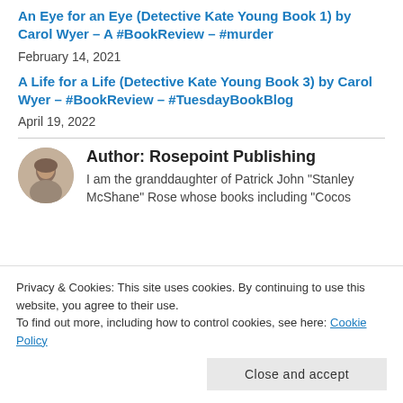An Eye for an Eye (Detective Kate Young Book 1) by Carol Wyer – A #BookReview – #murder
February 14, 2021
A Life for a Life (Detective Kate Young Book 3) by Carol Wyer – #BookReview – #TuesdayBookBlog
April 19, 2022
Author: Rosepoint Publishing
I am the granddaughter of Patrick John "Stanley McShane" Rose whose books including "Cocos
Privacy & Cookies: This site uses cookies. By continuing to use this website, you agree to their use.
To find out more, including how to control cookies, see here: Cookie Policy
Close and accept